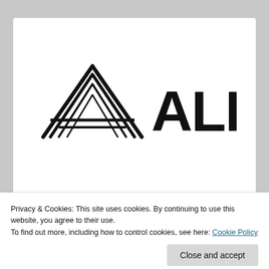[Figure (logo): Alloy logo: a stylized play-button triangle icon made of layered lines on the left, and the word ALLOY in bold black sans-serif capital letters on the right]
Privacy & Cookies: This site uses cookies. By continuing to use this website, you agree to their use.
To find out more, including how to control cookies, see here: Cookie Policy
Close and accept